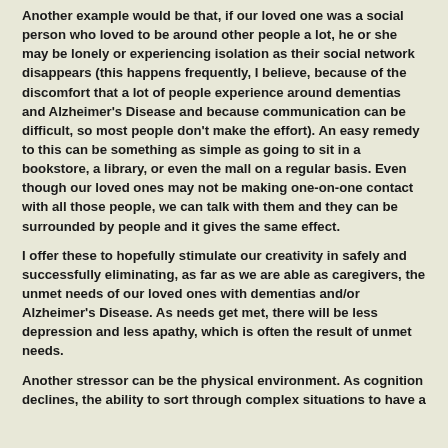Another example would be that, if our loved one was a social person who loved to be around other people a lot, he or she may be lonely or experiencing isolation as their social network disappears (this happens frequently, I believe, because of the discomfort that a lot of people experience around dementias and Alzheimer's Disease and because communication can be difficult, so most people don't make the effort). An easy remedy to this can be something as simple as going to sit in a bookstore, a library, or even the mall on a regular basis. Even though our loved ones may not be making one-on-one contact with all those people, we can talk with them and they can be surrounded by people and it gives the same effect.
I offer these to hopefully stimulate our creativity in safely and successfully eliminating, as far as we are able as caregivers, the unmet needs of our loved ones with dementias and/or Alzheimer's Disease. As needs get met, there will be less depression and less apathy, which is often the result of unmet needs.
Another stressor can be the physical environment. As cognition declines, the ability to sort through complex situations to have a